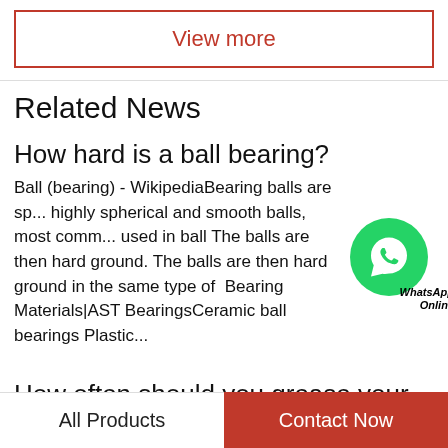View more
Related News
How hard is a ball bearing?
Ball (bearing) - WikipediaBearing balls are sp... highly spherical and smooth balls, most comm... used in ball The balls are then hard ground. The balls are then hard ground in the same type of  Bearing Materials|AST BearingsCeramic ball bearings Plastic...
How often should you grease your trav...
How Often Should the Wheel Bearings of a Trailer be
All Products   Contact Now